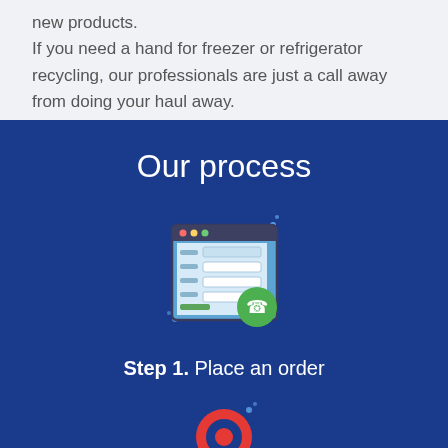new products.

If you need a hand for freezer or refrigerator recycling, our professionals are just a call away from doing your haul away.
Our process
[Figure (illustration): A web form/order interface icon with a green phone icon badge, shown with small decorative star/dot accents around it on a dark blue background.]
Step 1. Place an order
[Figure (illustration): A red location pin/map marker icon with decorative star accents, partially visible at the bottom of the page.]